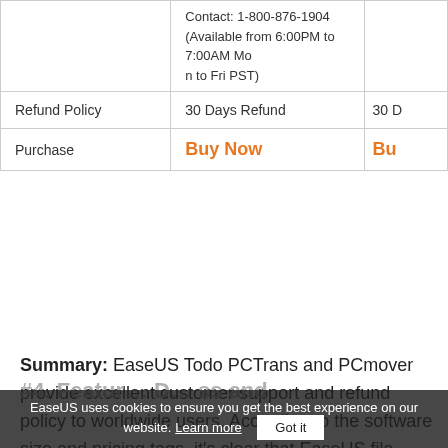|  |  |  |
| --- | --- | --- |
|  | Contact: 1-800-876-1904
(Available from 6:00PM to 7:00AM Mon to Fri PST) | 30 D… |
| Refund Policy | 30 Days Refund | 30 D… |
| Purchase | Buy Now | Bu… |
Summary: EaseUS Todo PCTrans and PCmover provide excellent customer support and refund policy to worldwide users. According to the software size and pricing tags, it's clear that EaseUS file transfer is a lighter software with flexible prices for different users to pick.
#4. Featu… D… s and
EaseUS uses cookies to ensure you get the best experience on our website. Learn more  Got it